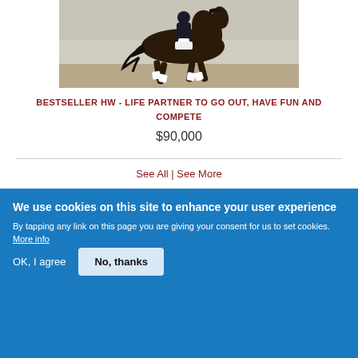[Figure (photo): A dark bay dressage horse trotting in an arena, wearing white leg wraps, with a rider in white breeches and dark jacket]
BESTSELLER HW - LIFE PARTNER TO GO OUT, HAVE FUN AND COMPETE
$90,000
See All | See More
We use cookies on this site to enhance your user experience
By tapping any link on this page you are giving your consent for us to set cookies. More info
OK, I agree
No, thanks